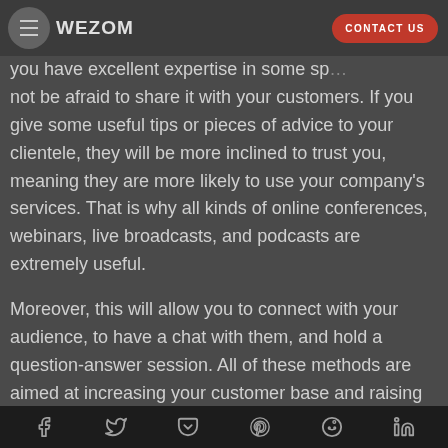WEZOM | CONTACT US
you have excellent expertise in some sp… not be afraid to share it with your customers. If you give some useful tips or pieces of advice to your clientele, they will be more inclined to trust you, meaning they are more likely to use your company's services. That is why all kinds of online conferences, webinars, live broadcasts, and podcasts are extremely useful.
Moreover, this will allow you to connect with your audience, to have a chat with them, and hold a question-answer session. All of these methods are aimed at increasing your customer base and raising your brand awareness.
Social share icons: Facebook, Twitter, Pocket, Pinterest, Reddit, LinkedIn